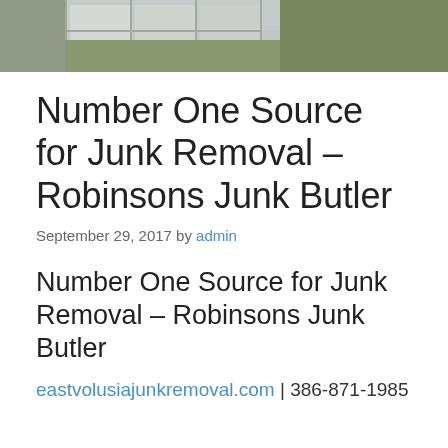[Figure (photo): Top portion of a webpage showing a photo of junk/debris including what appears to be a window frame or glass panel with grass/vegetation in the background]
Number One Source for Junk Removal – Robinsons Junk Butler
September 29, 2017 by admin
Number One Source for Junk Removal – Robinsons Junk Butler
eastvolusiajunkremoval.com | 386-871-1985